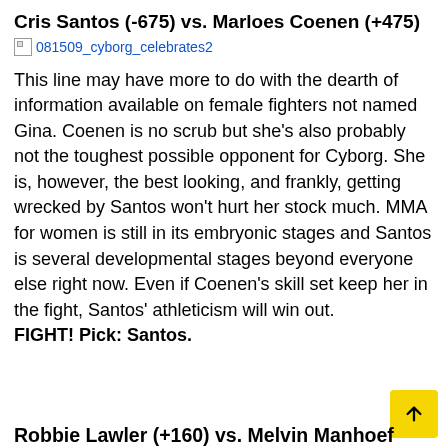Cris Santos (-675) vs. Marloes Coenen (+475)
[Figure (photo): Broken image placeholder with filename: 081509_cyborg_celebrates2]
This line may have more to do with the dearth of information available on female fighters not named Gina. Coenen is no scrub but she's also probably not the toughest possible opponent for Cyborg. She is, however, the best looking, and frankly, getting wrecked by Santos won't hurt her stock much. MMA for women is still in its embryonic stages and Santos is several developmental stages beyond everyone else right now. Even if Coenen's skill set keep her in the fight, Santos' athleticism will win out. FIGHT! Pick: Santos.
Robbie Lawler (+160) vs. Melvin Manhoef